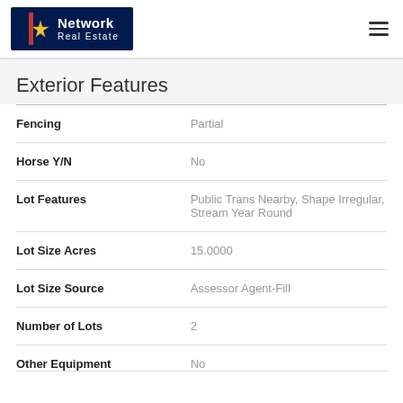Network Real Estate
Exterior Features
| Feature | Value |
| --- | --- |
| Fencing | Partial |
| Horse Y/N | No |
| Lot Features | Public Trans Nearby, Shape Irregular, Stream Year Round |
| Lot Size Acres | 15.0000 |
| Lot Size Source | Assessor Agent-Fill |
| Number of Lots | 2 |
| Other Equipment | No |